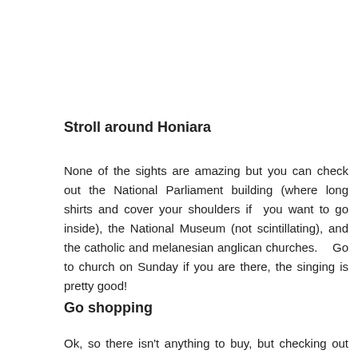Stroll around Honiara
None of the sights are amazing but you can check out the National Parliament building (where long shirts and cover your shoulders if you want to go inside), the National Museum (not scintillating), and the catholic and melanesian anglican churches.   Go to church on Sunday if you are there, the singing is pretty good!
Go shopping
Ok, so there isn't anything to buy, but checking out the